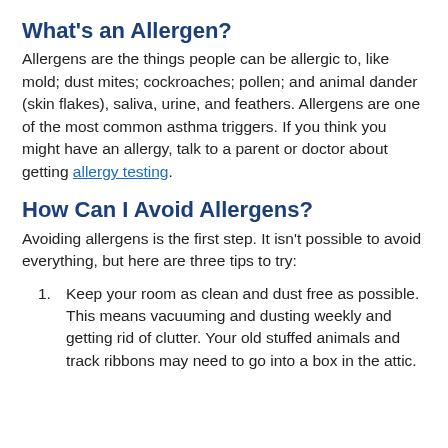What's an Allergen?
Allergens are the things people can be allergic to, like mold; dust mites; cockroaches; pollen; and animal dander (skin flakes), saliva, urine, and feathers. Allergens are one of the most common asthma triggers. If you think you might have an allergy, talk to a parent or doctor about getting allergy testing.
How Can I Avoid Allergens?
Avoiding allergens is the first step. It isn't possible to avoid everything, but here are three tips to try:
Keep your room as clean and dust free as possible. This means vacuuming and dusting weekly and getting rid of clutter. Your old stuffed animals and track ribbons may need to go into a box in the attic.